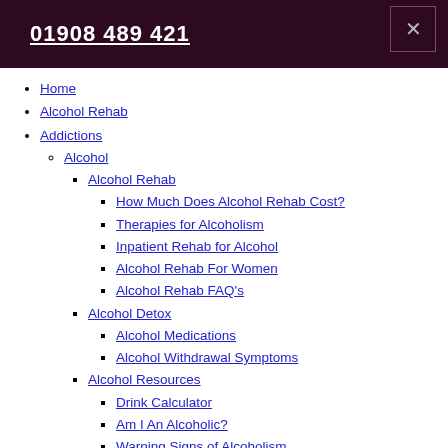01908 489 421
Home
Alcohol Rehab
Addictions
Alcohol
Alcohol Rehab
How Much Does Alcohol Rehab Cost?
Therapies for Alcoholism
Inpatient Rehab for Alcohol
Alcohol Rehab For Women
Alcohol Rehab FAQ's
Alcohol Detox
Alcohol Medications
Alcohol Withdrawal Symptoms
Alcohol Resources
Drink Calculator
Am I An Alcoholic?
Warning Signs of Alcoholism
How To Help An Alcoholic
Is Alcohol Addiction A Disease?